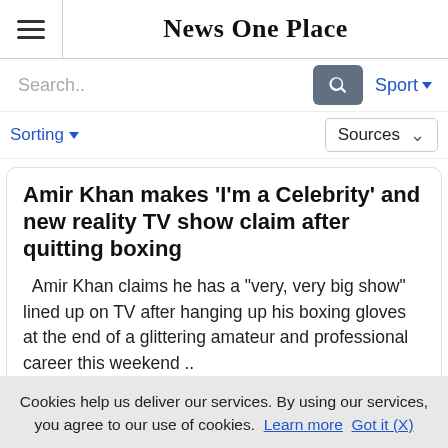News One Place
Search..
Sport
Sorting
Sources
Amir Khan makes 'I'm a Celebrity' and new reality TV show claim after quitting boxing
Amir Khan claims he has a "very, very big show" lined up on TV after hanging up his boxing gloves at the end of a glittering amateur and professional career this weekend ..
Cookies help us deliver our services. By using our services, you agree to our use of cookies. Learn more  Got it (X)